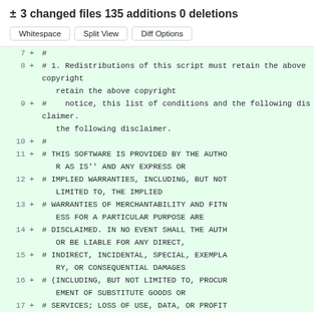± 3 changed files 135 additions 0 deletions
Whitespace | Split View | Diff Options
7  +  #
8  +  # 1. Redistributions of this script must retain the above copyright
9  +  #    notice, this list of conditions and the following disclaimer.
10 +  #
11 +  # THIS SOFTWARE IS PROVIDED BY THE AUTHOR AS IS'' AND ANY EXPRESS OR
12 +  # IMPLIED WARRANTIES, INCLUDING, BUT NOT LIMITED TO, THE IMPLIED
13 +  # WARRANTIES OF MERCHANTABILITY AND FITNESS FOR A PARTICULAR PURPOSE ARE
14 +  # DISCLAIMED. IN NO EVENT SHALL THE AUTHOR BE LIABLE FOR ANY DIRECT,
15 +  # INDIRECT, INCIDENTAL, SPECIAL, EXEMPLARY, OR CONSEQUENTIAL DAMAGES
16 +  # (INCLUDING, BUT NOT LIMITED TO, PROCUREMENT OF SUBSTITUTE GOODS OR
17 +  # SERVICES; LOSS OF USE, DATA, OR PROFIT